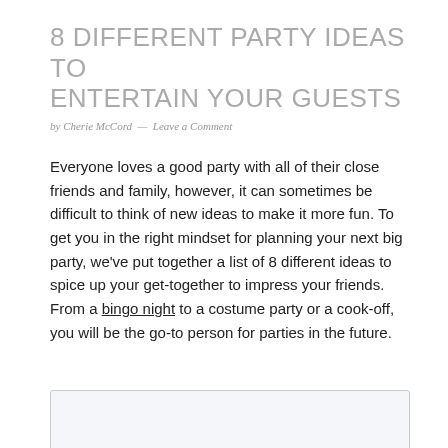8 DIFFERENT PARTY IDEAS TO ENTERTAIN YOUR GUESTS
by Cherie McCord — Leave a Comment
Everyone loves a good party with all of their close friends and family, however, it can sometimes be difficult to think of new ideas to make it more fun. To get you in the right mindset for planning your next big party, we've put together a list of 8 different ideas to spice up your get-together to impress your friends. From a bingo night to a costume party or a cook-off, you will be the go-to person for parties in the future.
[Figure (other): Partially visible image box at the bottom of the page]